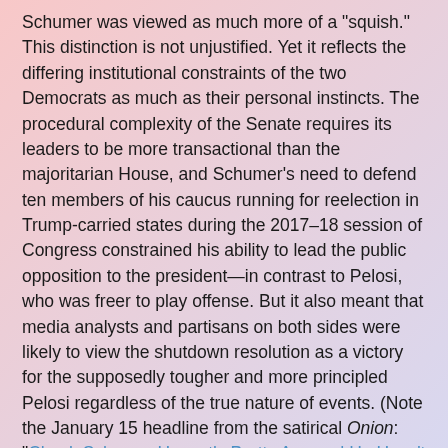Schumer was viewed as much more of a "squish." This distinction is not unjustified. Yet it reflects the differing institutional constraints of the two Democrats as much as their personal instincts. The procedural complexity of the Senate requires its leaders to be more transactional than the majoritarian House, and Schumer's need to defend ten members of his caucus running for reelection in Trump-carried states during the 2017–18 session of Congress constrained his ability to lead the public opposition to the president—in contrast to Pelosi, who was freer to play offense. But it also meant that media analysts and partisans on both sides were likely to view the shutdown resolution as a victory for the supposedly tougher and more principled Pelosi regardless of the true nature of events. (Note the January 15 headline from the satirical Onion: "Chuck Schumer Honestly Pretty Amazed He Hasn't Caved Yet.")
2. Job Title. Put simply, Pelosi is the leader of a majority and the most powerful legislator in her chamber, and Schumer is not. It is thus natural in a sense for her to be treated as the primary face of the opposition to Trump, even if the Senate minority's ability to exercise obstructive power via the